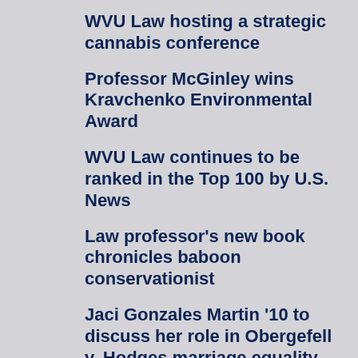WVU Law hosting a strategic cannabis conference
Professor McGinley wins Kravchenko Environmental Award
WVU Law continues to be ranked in the Top 100 by U.S. News
Law professor's new book chronicles baboon conservationist
Jaci Gonzales Martin '10 to discuss her role in Obergefell v. Hodges marriage equality decision